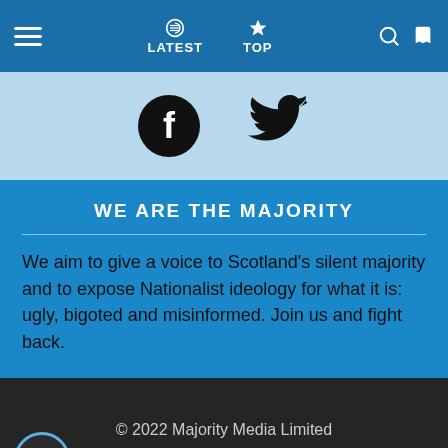LATEST | TOP
[Figure (other): Facebook and Twitter social share icons on light blue background]
WE ARE THE MAJORITY
We aim to give a voice to Scotland's silent majority and to expose Nationalist ideology for what it is: ugly, bigoted and misinformed. Join us and fight back.
© 2022 Majority Media Limited
Home   Contact us   Privacy Policy